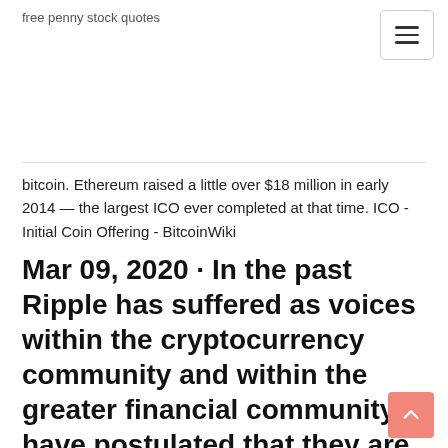free penny stock quotes
bitcoin. Ethereum raised a little over $18 million in early 2014 — the largest ICO ever completed at that time. ICO - Initial Coin Offering - BitcoinWiki
Mar 09, 2020 · In the past Ripple has suffered as voices within the cryptocurrency community and within the greater financial community have postulated that they are, in fact, staging an ICO (or Initial Coin Offering). These serious points have been raised to the United ...